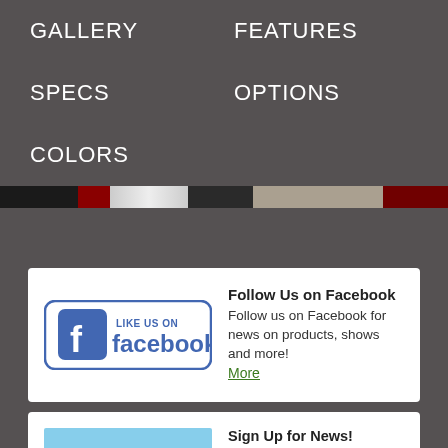GALLERY
FEATURES
SPECS
OPTIONS
COLORS
[Figure (other): Color strip bar showing trailer color swatches: black, dark red, gray gradient, dark, tan/khaki, dark red]
Follow Us on Facebook
Follow us on Facebook for news on products, shows and more!
More
[Figure (logo): Facebook Like Us On badge with Facebook logo and text]
Sign Up for News!
Sign up to receive news about new trailers, events
[Figure (photo): Photo of red trailer with trees and sky in background]